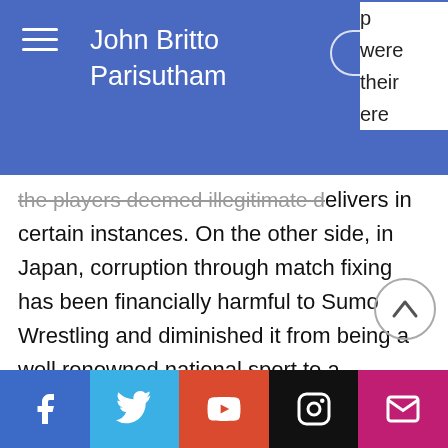John Britto Parisutham
the players deemed illegitimate delivers in certain instances. On the other side, in Japan, corruption through match fixing has been financially harmful to Sumo Wrestling and diminished it from being a well renowned national sport to a sideshow (Mehaffy.J, 2010).  In 2008, snooker fame Steve Davies said publicly the dangerous of the sport, “I’m worried about the game’s future. We are struggling for sponsors as it is. We don’t want snooker tarnished by match fixing”. The recent phenomenon
Social media links: Facebook, Twitter, YouTube, Instagram, Email